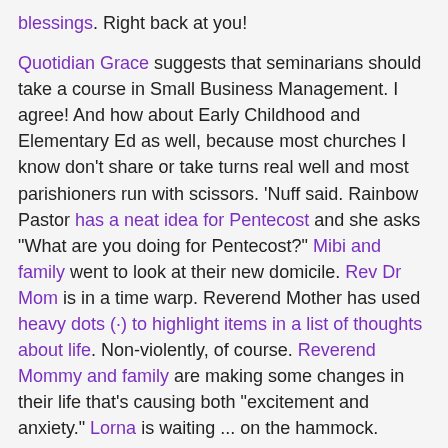blessings. Right back at you!
Quotidian Grace suggests that seminarians should take a course in Small Business Management. I agree! And how about Early Childhood and Elementary Ed as well, because most churches I know don't share or take turns real well and most parishioners run with scissors. 'Nuff said. Rainbow Pastor has a neat idea for Pentecost and she asks "What are you doing for Pentecost?" Mibi and family went to look at their new domicile. Rev Dr Mom is in a time warp. Reverend Mother has used heavy dots (·) to highlight items in a list of thoughts about life. Non-violently, of course. Reverend Mommy and family are making some changes in their life that's causing both "excitement and anxiety." Lorna is waiting ... on the hammock.
Songbird blogs about dancing and unexpected gifts. St. Cass comes in on the clergywoman fashion meme. Swandive is in Florida and met THE M-O-U-S-E. (I was named for two of the original Mouseketeers!) Amy is inspired ... by shoes? Happy Anniversary to Ken & Mary Beth! Stacey is on vacation and reminds us to "play nice" while she's